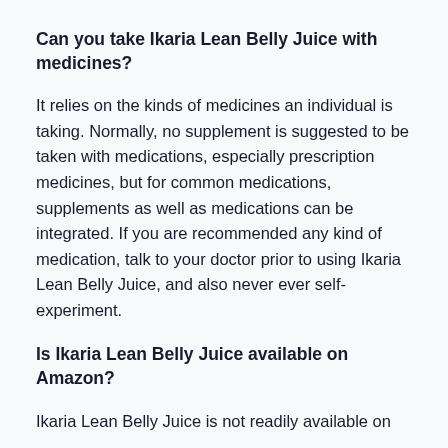Can you take Ikaria Lean Belly Juice with medicines?
It relies on the kinds of medicines an individual is taking. Normally, no supplement is suggested to be taken with medications, especially prescription medicines, but for common medications, supplements as well as medications can be integrated. If you are recommended any kind of medication, talk to your doctor prior to using Ikaria Lean Belly Juice, and also never ever self-experiment.
Is Ikaria Lean Belly Juice available on Amazon?
Ikaria Lean Belly Juice is not readily available on